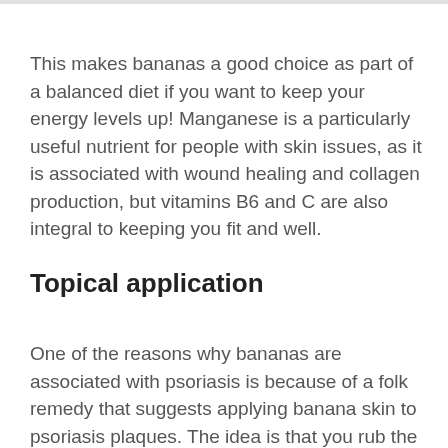This makes bananas a good choice as part of a balanced diet if you want to keep your energy levels up! Manganese is a particularly useful nutrient for people with skin issues, as it is associated with wound healing and collagen production, but vitamins B6 and C are also integral to keeping you fit and well.
Topical application
One of the reasons why bananas are associated with psoriasis is because of a folk remedy that suggests applying banana skin to psoriasis plaques. The idea is that you rub the inside of a